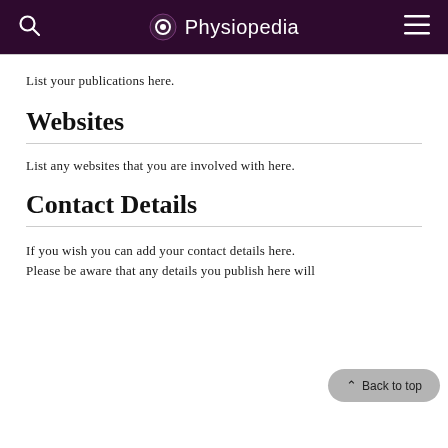Physiopedia
List your publications here.
Websites
List any websites that you are involved with here.
Contact Details
If you wish you can add your contact details here. Please be aware that any details you publish here will